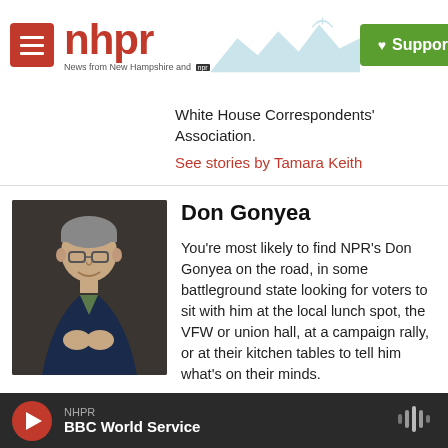NHPR - News from New Hampshire and NPR | Support
White House Correspondents' Association.
See stories by Tamara Keith
[Figure (photo): Headshot photo of Don Gonyea, a bespectacled older man with gray hair in a navy suit, smiling with hands clasped]
Don Gonyea
You're most likely to find NPR's Don Gonyea on the road, in some battleground state looking for voters to sit with him at the local lunch spot, the VFW or union hall, at a campaign rally, or at their kitchen tables to tell him what's on their minds.
NHPR - BBC World Service